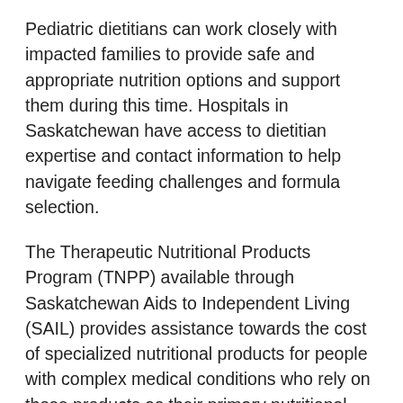Pediatric dietitians can work closely with impacted families to provide safe and appropriate nutrition options and support them during this time. Hospitals in Saskatchewan have access to dietitian expertise and contact information to help navigate feeding challenges and formula selection.
The Therapeutic Nutritional Products Program (TNPP) available through Saskatchewan Aids to Independent Living (SAIL) provides assistance towards the cost of specialized nutritional products for people with complex medical conditions who rely on those products as their primary nutritional source. Program benefits are cost shared between clients and the Ministry of Health. The program is aware of the shortages and has been reassessing clients' coverage